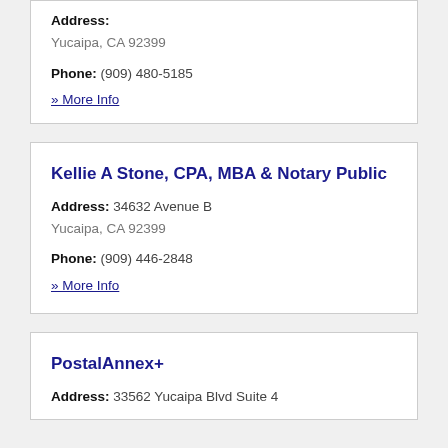Address: Yucaipa, CA 92399
Phone: (909) 480-5185
» More Info
Kellie A Stone, CPA, MBA & Notary Public
Address: 34632 Avenue B Yucaipa, CA 92399
Phone: (909) 446-2848
» More Info
PostalAnnex+
Address: 33562 Yucaipa Blvd Suite 4